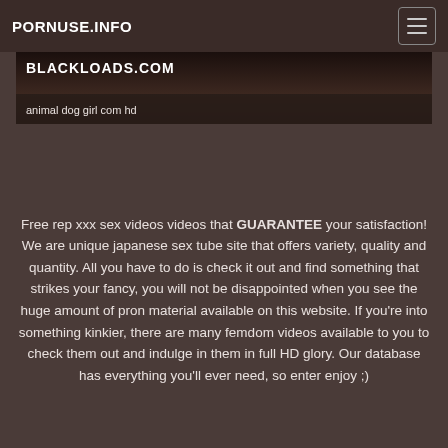PORNUSE.INFO
[Figure (screenshot): Dark banner image with BLACKLOADS.COM text visible, cropped adult content website screenshot]
animal dog girl com hd
Free rep xxx sex videos videos that GUARANTEE your satisfaction! We are unique japanese sex tube site that offers variety, quality and quantity. All you have to do is check it out and find something that strikes your fancy, you will not be disappointed when you see the huge amount of pron material available on this website. If you're into something kinkier, there are many femdom videos available to you to check them out and indulge in them in full HD glory. Our database has everything you'll ever need, so enter enjoy ;)